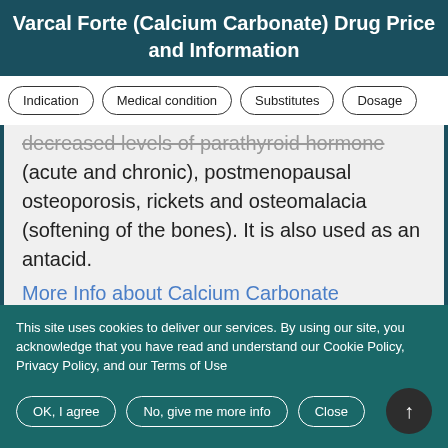Varcal Forte (Calcium Carbonate) Drug Price and Information
Indication
Medical condition
Substitutes
Dosage
decreased levels of parathyroid hormone (acute and chronic), postmenopausal osteoporosis, rickets and osteomalacia (softening of the bones). It is also used as an antacid.
More Info about Calcium Carbonate
Trade Names for Calcium
This site uses cookies to deliver our services. By using our site, you acknowledge that you have read and understand our Cookie Policy, Privacy Policy, and our Terms of Use
OK, I agree
No, give me more info
Close